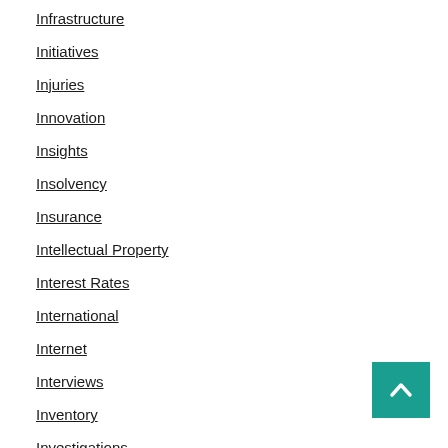Infrastructure
Initiatives
Injuries
Innovation
Insights
Insolvency
Insurance
Intellectual Property
Interest Rates
International
Internet
Interviews
Inventory
Investigations
Investing
Investments
IP